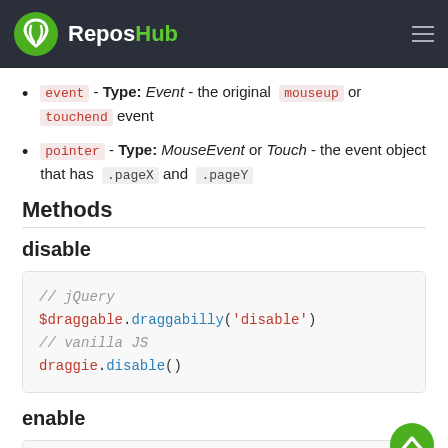ReposHub
event - Type: Event - the original mouseup or touchend event
pointer - Type: MouseEvent or Touch - the event object that has .pageX and .pageY
Methods
disable
// jQuery
$draggable.draggabilly('disable')
// vanilla JS
draggie.disable()
enable